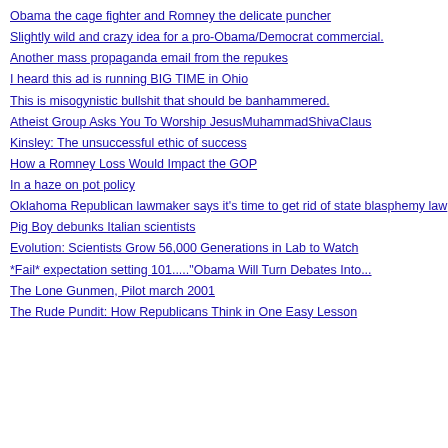Obama the cage fighter and Romney the delicate puncher
Slightly wild and crazy idea for a pro-Obama/Democrat commercial.
Another mass propaganda email from the repukes
I heard this ad is running BIG TIME in Ohio
This is misogynistic bullshit that should be banhammered.
Atheist Group Asks You To Worship JesusMuhammadShivaClaus
Kinsley: The unsuccessful ethic of success
How a Romney Loss Would Impact the GOP
In a haze on pot policy
Oklahoma Republican lawmaker says it's time to get rid of state blasphemy law
Pig Boy debunks Italian scientists
Evolution: Scientists Grow 56,000 Generations in Lab to Watch
*Fail* expectation setting 101...."Obama Will Turn Debates Into...
The Lone Gunmen, Pilot march 2001
The Rude Pundit: How Republicans Think in One Easy Lesson